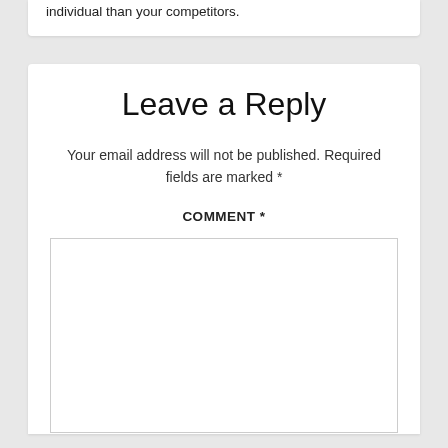individual than your competitors.
Leave a Reply
Your email address will not be published. Required fields are marked *
COMMENT *